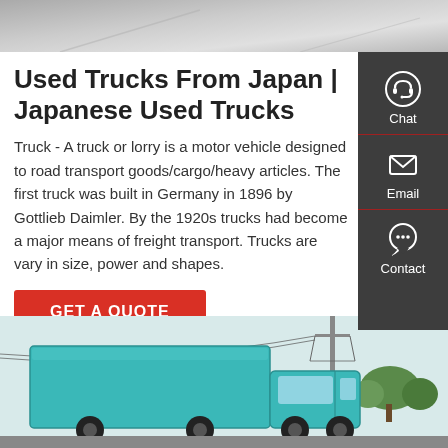[Figure (photo): Top cropped photo of a road/ground surface, grey tones]
Used Trucks From Japan | Japanese Used Trucks
Truck - A truck or lorry is a motor vehicle designed to road transport goods/cargo/heavy articles. The first truck was built in Germany in 1896 by Gottlieb Daimler. By the 1920s trucks had become a major means of freight transport. Trucks are vary in size, power and shapes.
[Figure (infographic): Right sidebar with dark grey background containing three icons and labels: Chat (headset icon), Email (envelope icon), Contact (speech bubble icon), separated by red horizontal lines]
[Figure (other): Red button labeled GET A QUOTE]
[Figure (photo): Bottom photo showing a teal/turquoise Japanese used truck with utility poles and trees in the background]